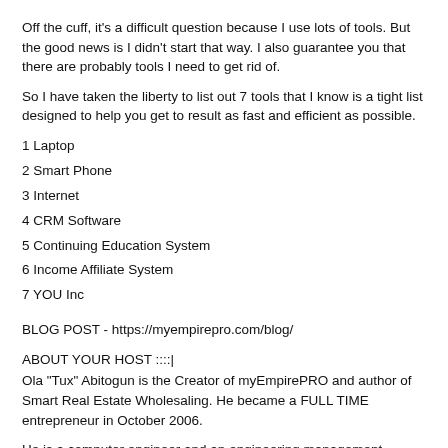Off the cuff, it's a difficult question because I use lots of tools. But the good news is I didn't start that way. I also guarantee you that there are probably tools I need to get rid of.
So I have taken the liberty to list out 7 tools that I know is a tight list designed to help you get to result as fast and efficient as possible.
1 Laptop
2 Smart Phone
3 Internet
4 CRM Software
5 Continuing Education System
6 Income Affiliate System
7 YOU Inc
BLOG POST - https://myempirepro.com/blog/
ABOUT YOUR HOST ::::|
Ola "Tux" Abitogun is the Creator of myEmpirePRO and author of Smart Real Estate Wholesaling. He became a FULL TIME entrepreneur in October 2006.
He is a computer engineer and an engineering management graduate from New Jersey Institute of Technology; (NJIT) class of 2004/5. He was born in Dallas Texas and raised in Nigeria by his Nigerian parents. He considers himself a proud Nigerian American.